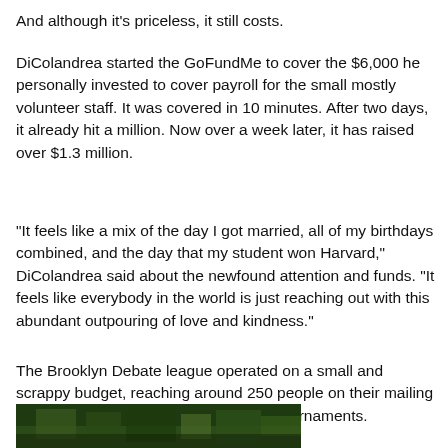And although it's priceless, it still costs.
DiColandrea started the GoFundMe to cover the $6,000 he personally invested to cover payroll for the small mostly volunteer staff. It was covered in 10 minutes. After two days, it already hit a million. Now over a week later, it has raised over $1.3 million.
"It feels like a mix of the day I got married, all of my birthdays combined, and the day that my student won Harvard," DiColandrea said about the newfound attention and funds. "It feels like everybody in the world is just reaching out with this abundant outpouring of love and kindness."
The Brooklyn Debate league operated on a small and scrappy budget, reaching around 250 people on their mailing list and about 100 students coming to tournaments.
[Figure (photo): Partial view of a photo showing dark green foliage at the bottom of the page.]